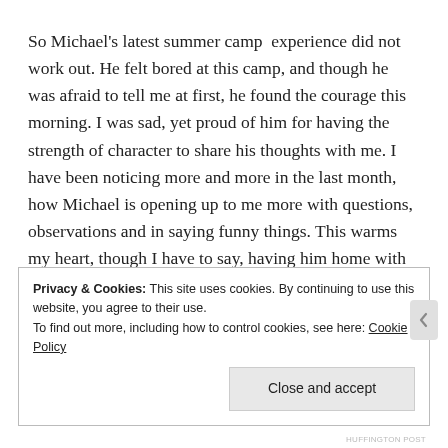So Michael's latest summer camp  experience did not work out. He felt bored at this camp, and though he was afraid to tell me at first, he found the courage this morning. I was sad, yet proud of him for having the strength of character to share his thoughts with me. I have been noticing more and more in the last month, how Michael is opening up to me more with questions, observations and in saying funny things. This warms my heart, though I have to say, having him home with me for the first time ALL DAY  today in a long while was a little overwhelming.
Privacy & Cookies: This site uses cookies. By continuing to use this website, you agree to their use.
To find out more, including how to control cookies, see here: Cookie Policy
Close and accept